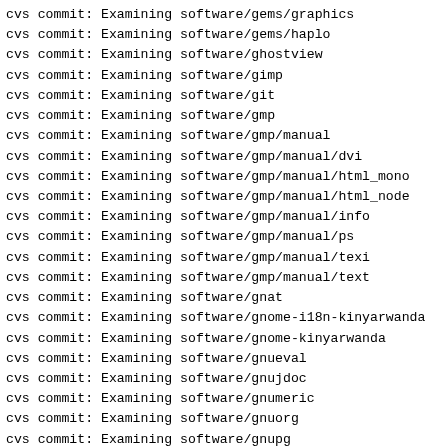cvs commit: Examining software/gems/graphics
cvs commit: Examining software/gems/haplo
cvs commit: Examining software/ghostview
cvs commit: Examining software/gimp
cvs commit: Examining software/git
cvs commit: Examining software/gmp
cvs commit: Examining software/gmp/manual
cvs commit: Examining software/gmp/manual/dvi
cvs commit: Examining software/gmp/manual/html_mono
cvs commit: Examining software/gmp/manual/html_node
cvs commit: Examining software/gmp/manual/info
cvs commit: Examining software/gmp/manual/ps
cvs commit: Examining software/gmp/manual/texi
cvs commit: Examining software/gmp/manual/text
cvs commit: Examining software/gnat
cvs commit: Examining software/gnome-i18n-kinyarwanda
cvs commit: Examining software/gnome-kinyarwanda
cvs commit: Examining software/gnueval
cvs commit: Examining software/gnujdoc
cvs commit: Examining software/gnumeric
cvs commit: Examining software/gnuorg
cvs commit: Examining software/gnupg
cvs commit: Examining software/gnuprologjava
cvs commit: Examining software/gnurobots
cvs commit: Examining software/gnushogi
cvs commit: Examining software/gnuskies
cvs commit: Examining software/gnusql
cvs commit: Examining software/gnustep-db
cvs commit: Examining software/gnutrition
cvs commit: Examining software/goops